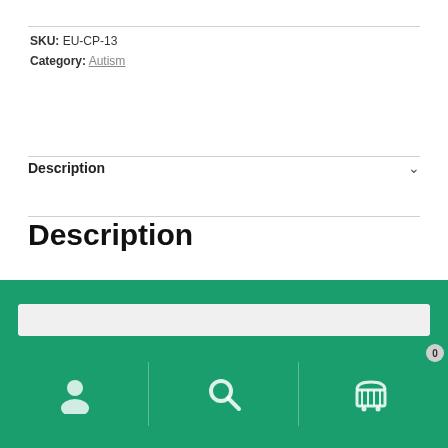SKU: EU-CP-13
Category: Autism
Description
Description
Custom Probiotics has a unique D-Lactate Free Probiotic powder formulated to improve intestinal microflora and digestive processes. D-lactate is a